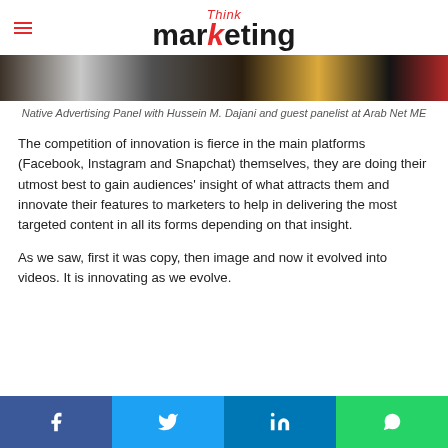Think marketing
[Figure (photo): Cropped photo of Native Advertising Panel with Hussein M. Dajani and guest panelist at Arab Net ME]
Native Advertising Panel with Hussein M. Dajani and guest panelist at Arab Net ME
The competition of innovation is fierce in the main platforms (Facebook, Instagram and Snapchat) themselves, they are doing their utmost best to gain audiences’ insight of what attracts them and innovate their features to marketers to help in delivering the most targeted content in all its forms depending on that insight.
As we saw, first it was copy, then image and now it evolved into videos. It is innovating as we evolve.
Social share buttons: Facebook, Twitter, LinkedIn, WhatsApp